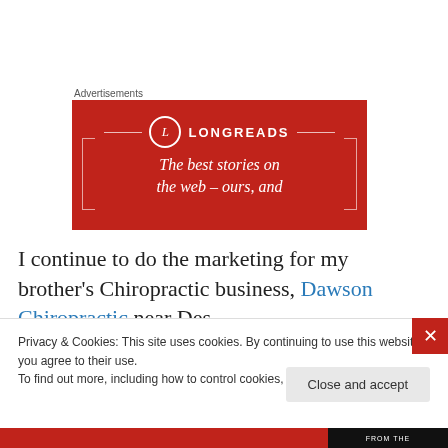Advertisements
[Figure (logo): Longreads advertisement banner with red background, circular L logo, brand name LONGREADS, and italic text 'The best stories on the web – ours, and']
I continue to do the marketing for my brother's Chiropractic business, Dawson Chiropractic near Des
Privacy & Cookies: This site uses cookies. By continuing to use this website, you agree to their use.
To find out more, including how to control cookies, see here: Cookie Policy
Close and accept